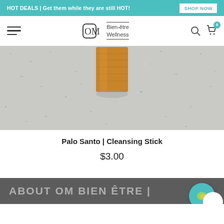HOT DEALS | Get them while they are still HOT! SHOP NOW
[Figure (screenshot): OM Bien-être Wellness website navigation bar with hamburger menu, logo, search and cart icons]
[Figure (photo): Palo Santo cleansing stick (wooden block) on a grey stone/marble surface, viewed from above]
Palo Santo | Cleansing Stick
$3.00
ABOUT OM BIEN ÊTRE |